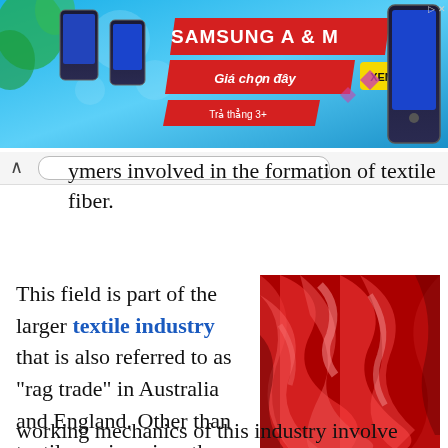[Figure (screenshot): Samsung A & M advertisement banner with blue background, red promotional bars, yellow XEM NGAY button, and Samsung M32 phone image]
polymers involved in the formation of textile fiber.
This field is part of the larger textile industry that is also referred to as "rag trade" in Australia and England. Other than textile engineering, the working mechanics of this industry involve
[Figure (photo): Close-up photo of red silk or satin fabric with flowing folds and glossy sheen]